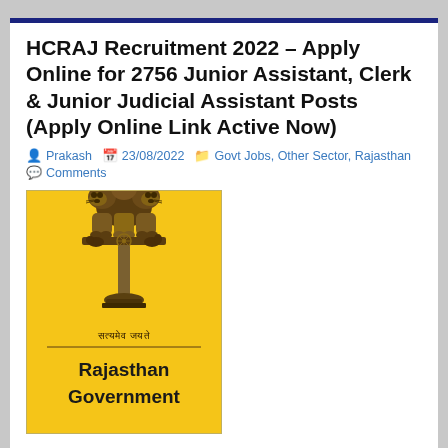HCRAJ Recruitment 2022 – Apply Online for 2756 Junior Assistant, Clerk & Junior Judicial Assistant Posts (Apply Online Link Active Now)
Prakash  23/08/2022  Govt Jobs, Other Sector, Rajasthan  Comments
[Figure (logo): Rajasthan Government logo on yellow background with Ashoka Pillar emblem and text 'Rajasthan Government']
Rajasthan High Court is the High Court of the state of Rajasthan. It was established on 21 June 1949 under the Rajasthan High Court Ordinance, 1949. High Court